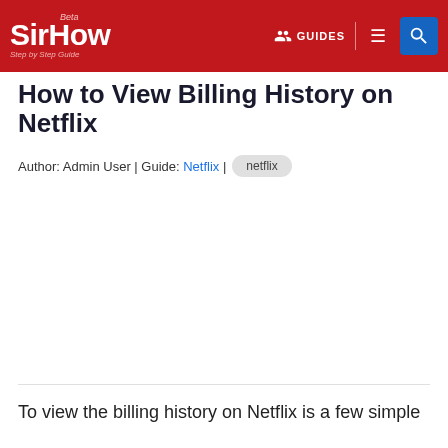SirHow Beta — Step by Step Guide | GUIDES | search
How to View Billing History on Netflix
Author: Admin User | Guide: Netflix | netflix
[Figure (other): Large blank/white image placeholder area for Netflix billing history screenshot]
To view the billing history on Netflix is a few simple